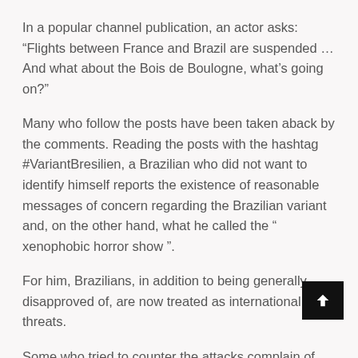In a popular channel publication, an actor asks: “Flights between France and Brazil are suspended … And what about the Bois de Boulogne, what’s going on?”
Many who follow the posts have been taken aback by the comments. Reading the posts with the hashtag #VariantBresilien, a Brazilian who did not want to identify himself reports the existence of reasonable messages of concern regarding the Brazilian variant and, on the other hand, what he called the “ xenophobic horror show ”.
For him, Brazilians, in addition to being generally disapproved of, are now treated as international threats.
Some who tried to counter the attacks complain of persecution on social media.